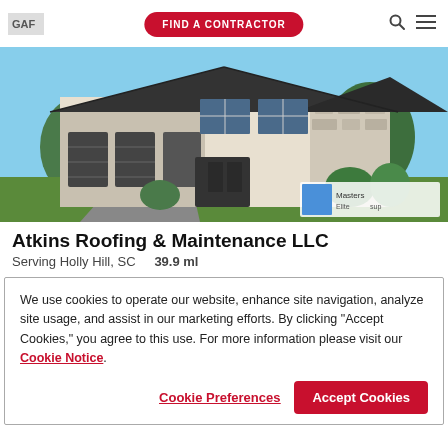GAF | FIND A CONTRACTOR
[Figure (photo): Exterior photo of a large two-story house with dark gray shingle roof, white and stone facade, three-car garage, green landscaping, and a GAF Masters Elite badge overlay in the bottom right corner.]
Atkins Roofing & Maintenance LLC
Serving Holly Hill, SC   39.9 ml
We use cookies to operate our website, enhance site navigation, analyze site usage, and assist in our marketing efforts. By clicking "Accept Cookies," you agree to this use. For more information please visit our Cookie Notice.
Cookie Preferences | Accept Cookies